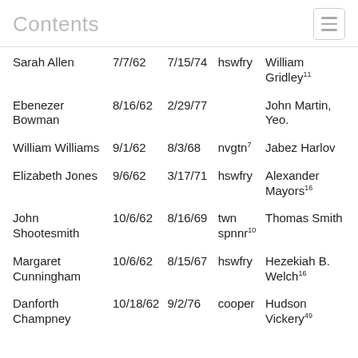Contents
| Name | Date1 | Date2 | Occupation | Master |
| --- | --- | --- | --- | --- |
| Sarah Allen | 7/7/62 | 7/15/74 | hswfry | William Gridley[11] |
| Ebenezer Bowman | 8/16/62 | 2/29/77 |  | John Martin, Yeo. |
| William Williams | 9/1/62 | 8/3/68 | nvgtn[7] | Jabez Harlow |
| Elizabeth Jones | 9/6/62 | 3/17/71 | hswfry | Alexander Mayors[16] |
| John Shootesmith | 10/6/62 | 8/16/69 | twn spnnr[10] | Thomas Smith |
| Margaret Cunningham | 10/6/62 | 8/15/67 | hswfry | Hezekiah B. Welch[16] |
| Danforth Champney | 10/18/62 | 9/2/76 | cooper | Hudson Vickery[49] |